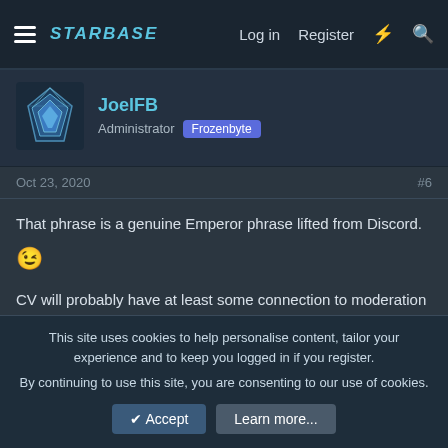STARBASE  Log in  Register
JoelFB
Administrator  Frozenbyte
Oct 23, 2020  #6
That phrase is a genuine Emperor phrase lifted from Discord. 😉

CV will probably have at least some connection to moderation actions, full extent yet to be determined though.
[QS] Combustible said: ↑

Say you infiltrated an enemy faction and stole ships in a war. It turns
This site uses cookies to help personalise content, tailor your experience and to keep you logged in if you register.
By continuing to use this site, you are consenting to our use of cookies.